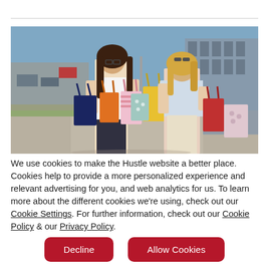[Figure (photo): Two young women with shopping bags standing outside a shopping center, talking to each other. One has dark hair, glasses, and a white tank top; the other has blonde hair and a light blue off-shoulder top. Both are carrying multiple colorful shopping bags.]
We use cookies to make the Hustle website a better place. Cookies help to provide a more personalized experience and relevant advertising for you, and web analytics for us. To learn more about the different cookies we're using, check out our Cookie Settings. For further information, check out our Cookie Policy & our Privacy Policy.